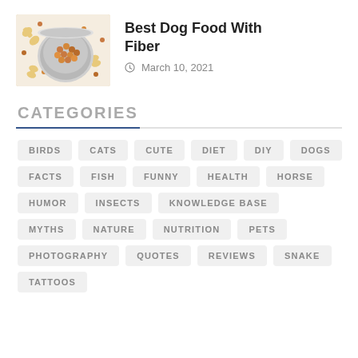[Figure (photo): Dog food bowl with kibble and dog bone treats on white background]
Best Dog Food With Fiber
March 10, 2021
CATEGORIES
BIRDS
CATS
CUTE
DIET
DIY
DOGS
FACTS
FISH
FUNNY
HEALTH
HORSE
HUMOR
INSECTS
KNOWLEDGE BASE
MYTHS
NATURE
NUTRITION
PETS
PHOTOGRAPHY
QUOTES
REVIEWS
SNAKE
TATTOOS